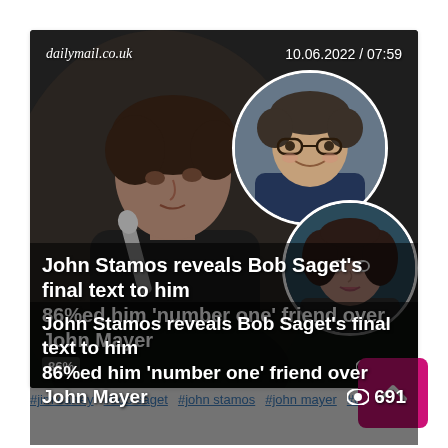[Figure (photo): News article card from dailymail.co.uk dated 10.06.2022 / 07:59. Shows John Stamos in foreground holding a microphone, with circular inset photos of Bob Saget and a woman. Headline reads: John Stamos reveals Bob Saget's final text to him and named him 'number one' friend over John Mayer. 86% vote and 691 views shown.]
#jim carrey  #bob saget  #john stamos  #john mayer  #chris r...